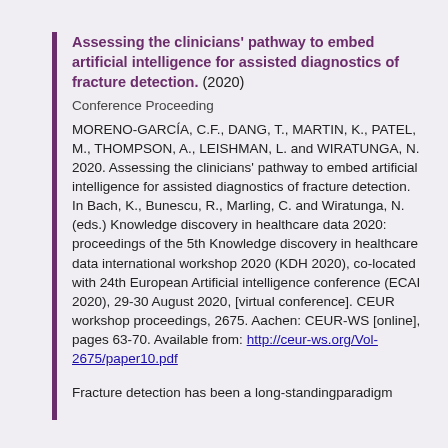Assessing the clinicians' pathway to embed artificial intelligence for assisted diagnostics of fracture detection. (2020)
Conference Proceeding
MORENO-GARCÍA, C.F., DANG, T., MARTIN, K., PATEL, M., THOMPSON, A., LEISHMAN, L. and WIRATUNGA, N. 2020. Assessing the clinicians' pathway to embed artificial intelligence for assisted diagnostics of fracture detection. In Bach, K., Bunescu, R., Marling, C. and Wiratunga, N. (eds.) Knowledge discovery in healthcare data 2020: proceedings of the 5th Knowledge discovery in healthcare data international workshop 2020 (KDH 2020), co-located with 24th European Artificial intelligence conference (ECAI 2020), 29-30 August 2020, [virtual conference]. CEUR workshop proceedings, 2675. Aachen: CEUR-WS [online], pages 63-70. Available from: http://ceur-ws.org/Vol-2675/paper10.pdf
Fracture detection has been a long-standingparadigm